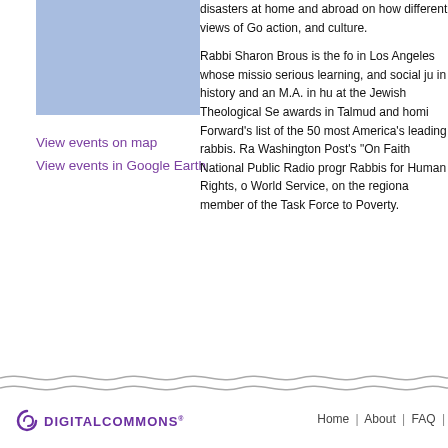[Figure (illustration): Blue/periwinkle colored rectangular image placeholder in the upper left column]
View events on map
View events in Google Earth
disasters at home and abroad on how different views of Go action, and culture. Rabbi Sharon Brous is the fo in Los Angeles whose missio serious learning, and social ju in history and an M.A. in hu at the Jewish Theological Se awards in Talmud and homi Forward's list of the 50 most America's leading rabbis. Ra Washington Post's "On Faith National Public Radio prog Rabbis for Human Rights, o World Service, on the region member of the Task Force to Poverty.
Home | About | FAQ |